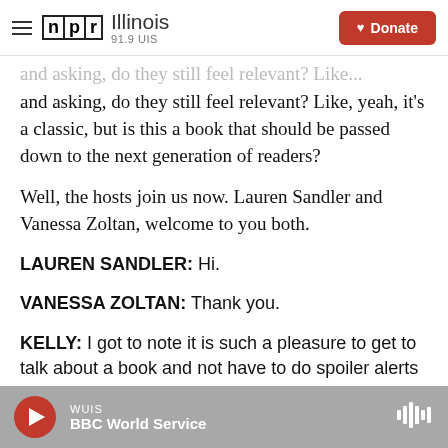NPR Illinois 91.9 UIS | Donate
and asking, do they still feel relevant? Like, yeah, it's a classic, but is this a book that should be passed down to the next generation of readers?
Well, the hosts join us now. Lauren Sandler and Vanessa Zoltan, welcome to you both.
LAUREN SANDLER: Hi.
VANESSA ZOLTAN: Thank you.
KELLY: I got to note it is such a pleasure to get to talk about a book and not have to do spoiler alerts
WUIS | BBC World Service